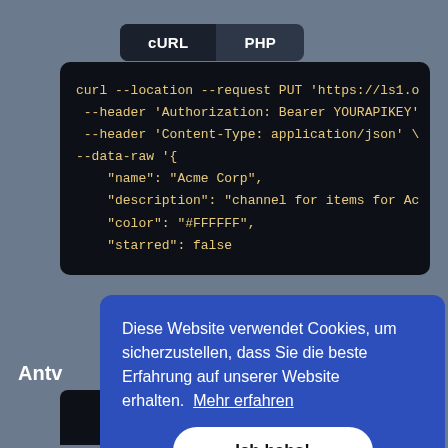[Figure (screenshot): Tab bar with cURL (active, dark background) and PHP tabs on a dark rounded pill background]
curl --location --request PUT 'https://ls1.o
 --header 'Authorization: Bearer YOURAPIKEY'
 --header 'Content-Type: application/json' \
--data-raw '{
    "name": "Acme Corp",
    "description": "channel for items for Ac
    "color": "#FFFFFF",
    "starred": false
Antv
Diese Website verwendet Cookies, um sicherzustellen, dass Sie die beste Erfahrung auf unserer Website erhalten.  Mehr erfahren
Ich habs!